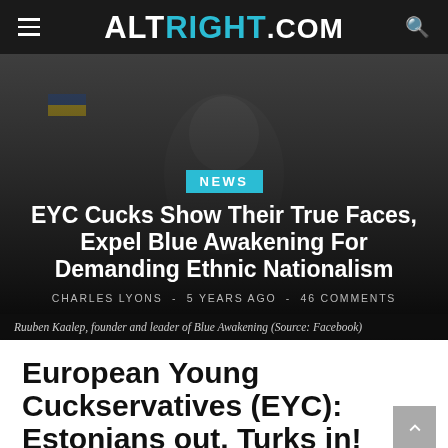ALTRIGHT.COM
[Figure (photo): Photo of Ruuben Kaalep, founder and leader of Blue Awakening, with Ukrainian and other European flags visible in background. Dark overlay.]
NEWS
EYC Cucks Show Their True Faces, Expel Blue Awakening For Demanding Ethnic Nationalism
CHARLES LYONS  -  5 YEARS AGO  -  46 COMMENTS
Ruuben Kaalep, founder and leader of Blue Awakening (Source: Facebook)
European Young Cuckservatives (EYC): Estonians out, Turks in!